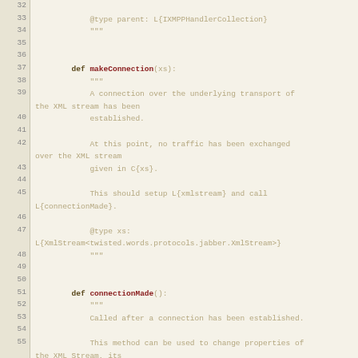[Figure (screenshot): Source code listing showing Python class methods makeConnection and connectionMade with docstrings, lines 32-59]